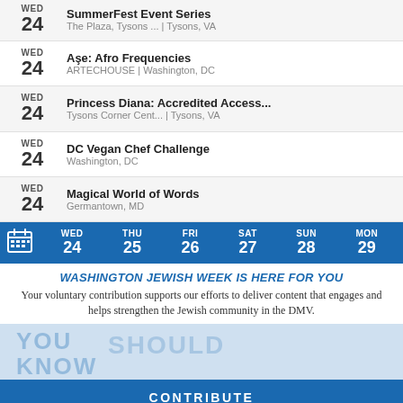WED 24 – SummerFest Event Series – The Plaza, Tysons... | Tysons, VA
WED 24 – Ase: Afro Frequencies – ARTECHOUSE | Washington, DC
WED 24 – Princess Diana: Accredited Access... – Tysons Corner Cent... | Tysons, VA
WED 24 – DC Vegan Chef Challenge – Washington, DC
WED 24 – Magical World of Words – Germantown, MD
[Figure (other): Calendar navigation bar showing WED 24, THU 25, FRI 26, SAT 27, SUN 28, MON 29]
WASHINGTON JEWISH WEEK IS HERE FOR YOU
Your voluntary contribution supports our efforts to deliver content that engages and helps strengthen the Jewish community in the DMV.
[Figure (illustration): Advertisement banner with faded text 'YOU SHOULD KNOW' and figures in background]
CONTRIBUTE